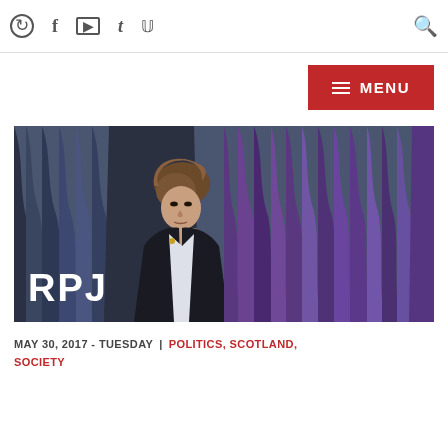[Navigation bar with icons: refresh, facebook, youtube, tumblr, twitter, search]
≡ MENU
[Figure (photo): Woman with short brown hair peeking through blue and purple curtains, with 'RPJ' text overlay in bottom left]
MAY 30, 2017 - TUESDAY | POLITICS, SCOTLAND, SOCIETY